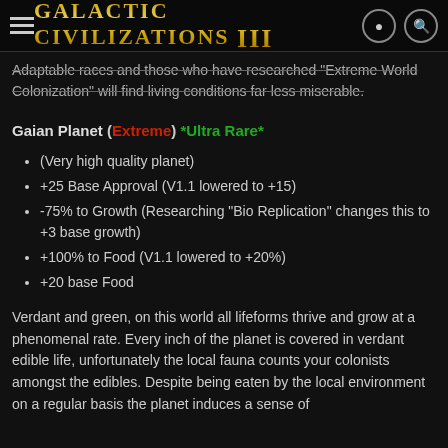Galactic Civilizations III
Adaptable races and those who have researched "Extreme World Colonization" will find living conditions far less miserable.
Gaian Planet (Extreme) *Ultra Rare*
(Very high quality planet)
+25 Base Approval (V1.1 lowered to +15)
-75% to Growth (Researching "Bio Replication" changes this to +3 base growth)
+100% to Food (V1.1 lowered to +20%)
+20 base Food
Verdant and green, on this world all lifeforms thrive and grow at a phenomenal rate. Every inch of the planet is covered in verdant edible life, unfortunately the local fauna counts your colonists amongst the edibles. Despite being eaten by the local environment on a regular basis the planet induces a sense of